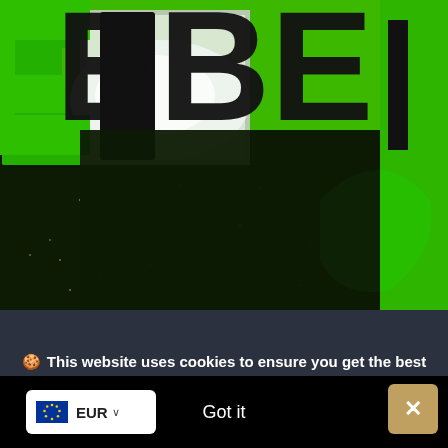[Figure (photo): Close-up photo of a green and black surface with large bold letters 'EBEL' or similar branding text in green and silver/metallic colors on a dark sparkly background. The image is cropped showing partial letters.]
🍪 This website uses cookies to ensure you get the best experience on our website.
Got it
EUR